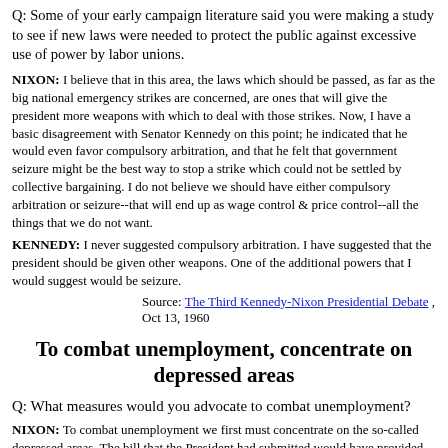Q: Some of your early campaign literature said you were making a study to see if new laws were needed to protect the public against excessive use of power by labor unions.
NIXON: I believe that in this area, the laws which should be passed, as far as the big national emergency strikes are concerned, are ones that will give the president more weapons with which to deal with those strikes. Now, I have a basic disagreement with Senator Kennedy on this point; he indicated that he would even favor compulsory arbitration, and that he felt that government seizure might be the best way to stop a strike which could not be settled by collective bargaining. I do not believe we should have either compulsory arbitration or seizure--that will end up as wage control & price control--all the things that we do not want.
KENNEDY: I never suggested compulsory arbitration. I have suggested that the president should be given other weapons. One of the additional powers that I would suggest would be seizure.
Source: The Third Kennedy-Nixon Presidential Debate , Oct 13, 1960
To combat unemployment, concentrate on depressed areas
Q: What measures would you advocate to combat unemployment?
NIXON: To combat unemployment we first must concentrate on the so-called depressed areas. The bill that the President had submitted would have provided more aid for those areas that really need it--areas like Scranton and Wilkes-Barre and the areas of West Virginia. As the highest priority we must get a bill for depressed areas through the next Congress. As we consider this problem of unemployment, we have to realize where it is. In analyzing the figures we will find